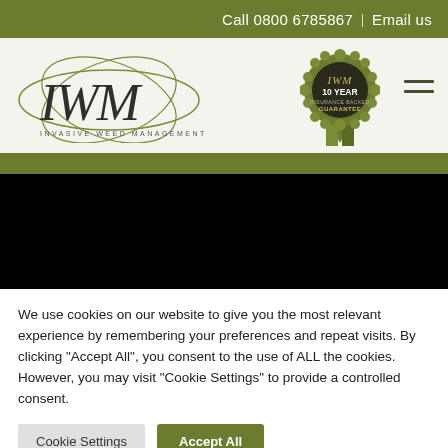Call 0800 6785867  |  Email us
[Figure (logo): IWM Invasive Weed Management logo with stylized globe/arc lines and text 'INVASIVE WEED MANAGEMENT']
[Figure (illustration): IWM 10 Year Insurance Backed Guarantee rosette/badge in green and dark circle with ribbon]
[Figure (photo): Large black/dark banner image area below navigation]
We use cookies on our website to give you the most relevant experience by remembering your preferences and repeat visits. By clicking "Accept All", you consent to the use of ALL the cookies. However, you may visit "Cookie Settings" to provide a controlled consent.
Cookie Settings  |  Accept All